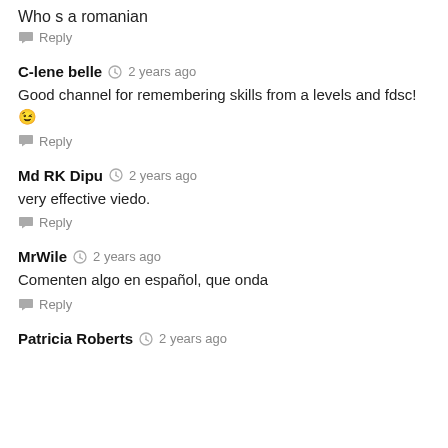Who s a romanian
Reply
C-lene belle  2 years ago
Good channel for remembering skills from a levels and fdsc! 😉
Reply
Md RK Dipu  2 years ago
very effective viedo.
Reply
MrWile  2 years ago
Comenten algo en español, que onda
Reply
Patricia Roberts  2 years ago